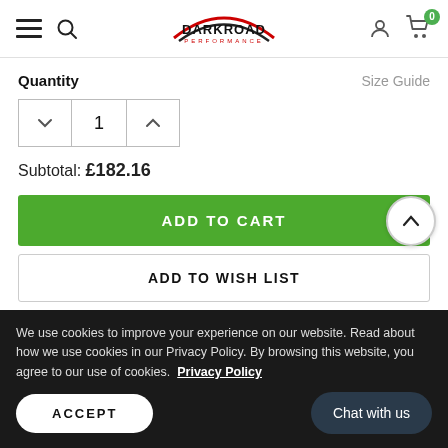Darkroad Performance — navigation header with hamburger menu, search, logo, account and cart icons
Quantity
Size Guide
1
Subtotal: £182.16
ADD TO CART
ADD TO WISH LIST
We use cookies to improve your experience on our website. Read about how we use cookies in our Privacy Policy. By browsing this website, you agree to our use of cookies.  Privacy Policy
ACCEPT
Chat with us